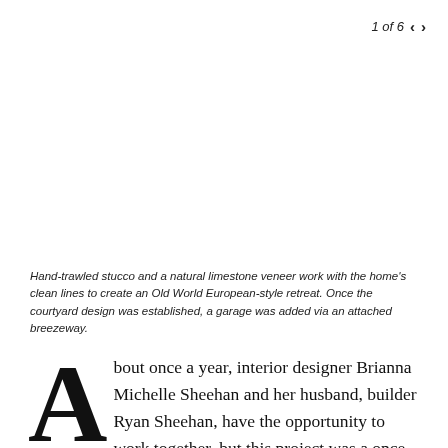1 of 6 < >
Hand-trawled stucco and a natural limestone veneer work with the home's clean lines to create an Old World European-style retreat. Once the courtyard design was established, a garage was added via an attached breezeway.
About once a year, interior designer Brianna Michelle Sheehan and her husband, builder Ryan Sheehan, have the opportunity to work together, but this project was a once in a lifetime experience. The